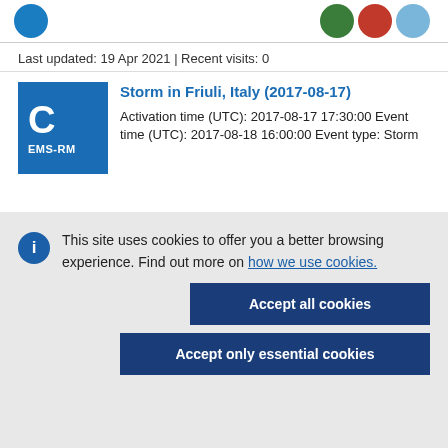Navigation icons row (partial)
Last updated: 19 Apr 2021 | Recent visits: 0
Storm in Friuli, Italy (2017-08-17) — C EMS-RM — Activation time (UTC): 2017-08-17 17:30:00 Event time (UTC): 2017-08-18 16:00:00 Event type: Storm
This site uses cookies to offer you a better browsing experience. Find out more on how we use cookies.
Accept all cookies
Accept only essential cookies